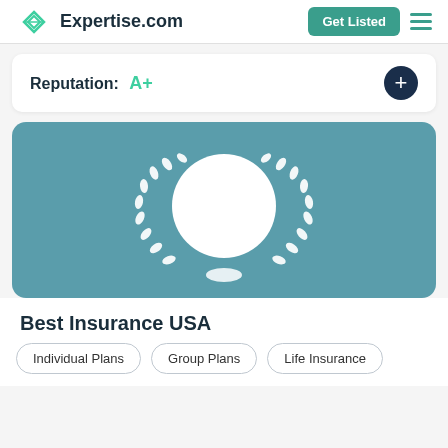Expertise.com | Get Listed
Reputation: A+
[Figure (illustration): Award badge with white laurel wreath and empty circle on teal background]
Best Insurance USA
Individual Plans
Group Plans
Life Insurance